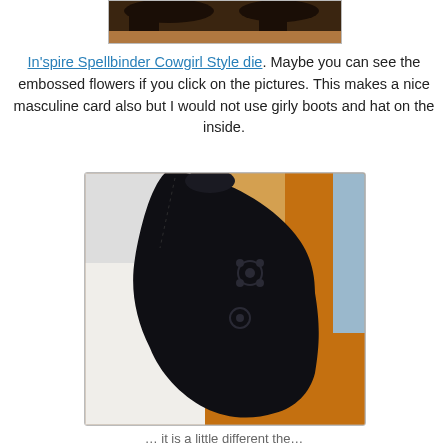[Figure (photo): Partial top image showing dark brown/black cowboy boots or hat shape against brown background, cropped at top of page]
In'spire Spellbinder Cowgirl Style die. Maybe you can see the embossed flowers if you click on the pictures. This makes a nice masculine card also but I would not use girly boots and hat on the inside.
[Figure (photo): Close-up photo of a black embossed cowboy hat die cut shape with flower embossing patterns, placed against a background of white card, tan/orange paper, and light blue paper]
... it is a little different the...